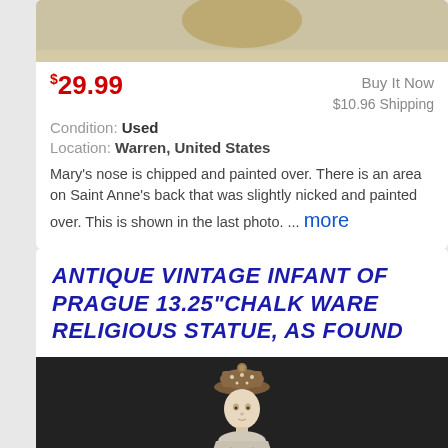[Figure (photo): Top portion of product image showing antique religious statue background]
$29.99
Buy It Now
$10.96 Shipping
Condition: Used
Location: Warren, United States
Mary's nose is chipped and painted over. There is an area on Saint Anne's back that was slightly nicked and painted over. This is shown in the last photo. ... more
ANTIQUE VINTAGE INFANT OF PRAGUE 13.25"CHALK WARE RELIGIOUS STATUE, AS FOUND
[Figure (photo): Photo of antique chalk ware Infant of Prague religious statue against dark background, showing figure with crown/mitre wearing robes]